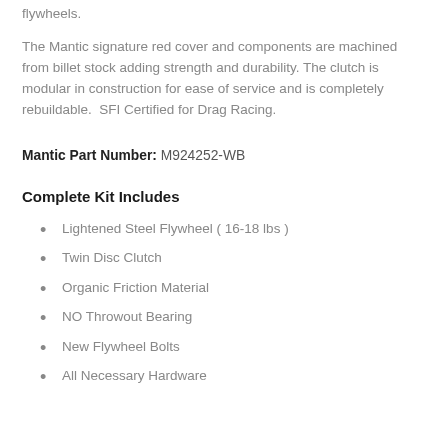flywheels.
The Mantic signature red cover and components are machined from billet stock adding strength and durability. The clutch is modular in construction for ease of service and is completely rebuildable.  SFI Certified for Drag Racing.
Mantic Part Number: M924252-WB
Complete Kit Includes
Lightened Steel Flywheel ( 16-18 lbs )
Twin Disc Clutch
Organic Friction Material
NO Throwout Bearing
New Flywheel Bolts
All Necessary Hardware